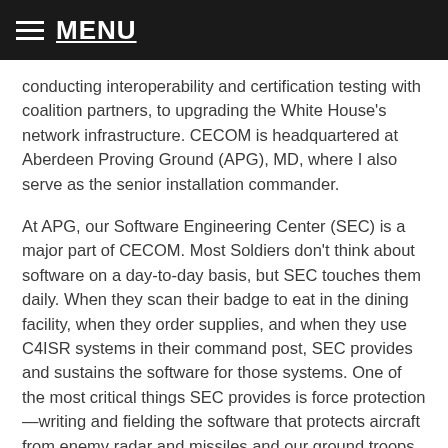MENU
conducting interoperability and certification testing with coalition partners, to upgrading the White House's network infrastructure. CECOM is headquartered at Aberdeen Proving Ground (APG), MD, where I also serve as the senior installation commander.
At APG, our Software Engineering Center (SEC) is a major part of CECOM. Most Soldiers don't think about software on a day-to-day basis, but SEC touches them daily. When they scan their badge to eat in the dining facility, when they order supplies, and when they use C4ISR systems in their command post, SEC provides and sustains the software for those systems. One of the most critical things SEC provides is force protection—writing and fielding the software that protects aircraft from enemy radar and missiles and our ground troops from remote-controlled IEDs, among other threats.
Also at APG, we have our Integrated Logistics Support